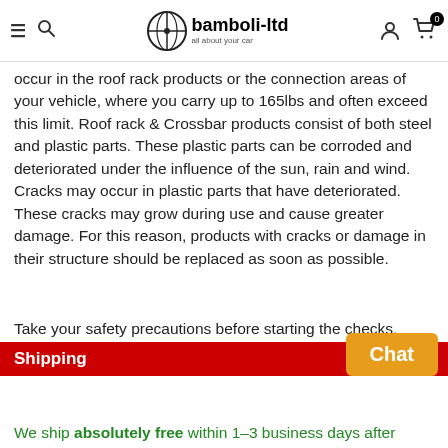bamboli-ltd — all about your car
occur in the roof rack products or the connection areas of your vehicle, where you carry up to 165lbs and often exceed this limit. Roof rack & Crossbar products consist of both steel and plastic parts. These plastic parts can be corroded and deteriorated under the influence of the sun, rain and wind. Cracks may occur in plastic parts that have deteriorated. These cracks may grow during use and cause greater damage. For this reason, products with cracks or damage in their structure should be replaced as soon as possible.
Take your safety precautions before starting the checks.
Shipping
We ship absolutely free within 1-3 business days after